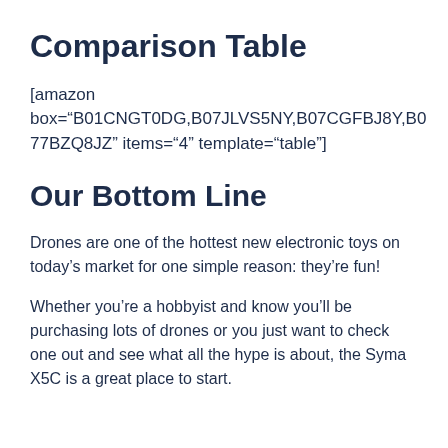Comparison Table
[amazon box="B01CNGT0DG,B07JLVS5NY,B07CGFBJ8Y,B077BZQ8JZ" items="4" template="table"]
Our Bottom Line
Drones are one of the hottest new electronic toys on today’s market for one simple reason: they’re fun!
Whether you’re a hobbyist and know you’ll be purchasing lots of drones or you just want to check one out and see what all the hype is about, the Syma X5C is a great place to start.